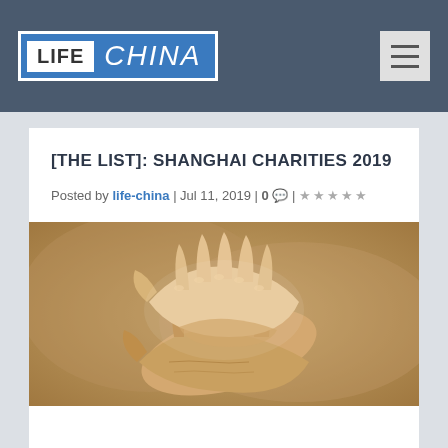[Figure (logo): Life China website logo - blue rectangle with white LIFE box and CHINA text in italic]
[Figure (other): Hamburger navigation menu icon]
[THE LIST]: SHANGHAI CHARITIES 2019
Posted by life-china | Jul 11, 2019 | 0 💬 | ★★★★★
[Figure (photo): Close-up photo of hands clasped together, showing an elderly person's hand being held by a younger person's hand, warm golden/beige tones]